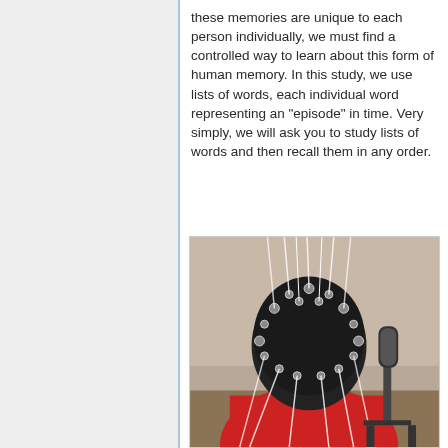these memories are unique to each person individually, we must find a controlled way to learn about this form of human memory. In this study, we use lists of words, each individual word representing an "episode" in time. Very simply, we will ask you to study lists of words and then recall them in any order.
[Figure (photo): A person wearing an EEG electrode cap with many sensors and cables attached, sitting in front of a microphone. The subject is viewed from behind and is wearing a red shirt. The EEG cap has numerous electrodes connected by white wires.]